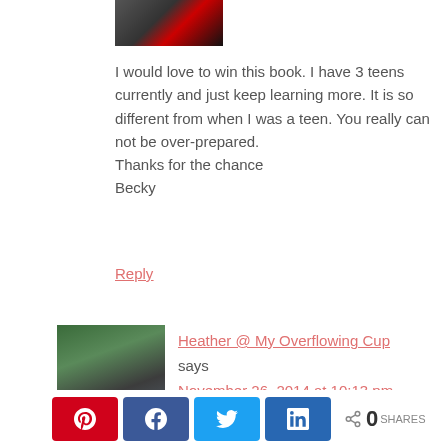[Figure (photo): Partial photo at top, cropped, showing people]
I would love to win this book. I have 3 teens currently and just keep learning more. It is so different from when I was a teen. You really can not be over-prepared.
Thanks for the chance
Becky
Reply
[Figure (photo): Profile photo of Heather, a woman with glasses and dark hair, wearing a gray shirt, standing in front of green foliage]
Heather @ My Overflowing Cup says November 26, 2014 at 10:13 pm